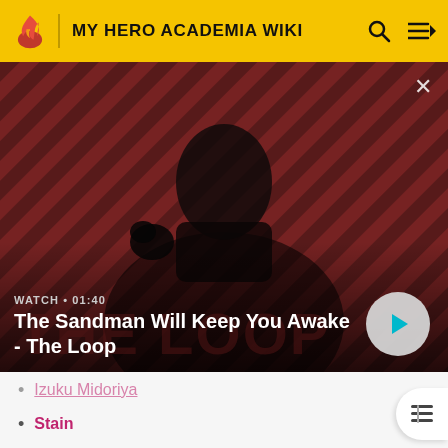MY HERO ACADEMIA WIKI
[Figure (screenshot): Video thumbnail showing a dark figure with a raven on the shoulder against a red and dark striped background. Text overlay: WATCH • 01:40 / The Sandman Will Keep You Awake - The Loop]
Izuku Midoriya
Stain
Tenya Ida
Native
Ochaco Uraraka (Flashback)